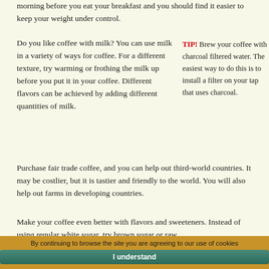morning before you eat your breakfast and you should find it easier to keep your weight under control.
Do you like coffee with milk? You can use milk in a variety of ways for coffee. For a different texture, try warming or frothing the milk up before you put it in your coffee. Different flavors can be achieved by adding different quantities of milk.
TIP! Brew your coffee with charcoal filtered water. The easiest way to do this is to install a filter on your tap that uses charcoal.
Purchase fair trade coffee, and you can help out third-world countries. It may be costlier, but it is tastier and friendly to the world. You will also help out farms in developing countries.
Make your coffee even better with flavors and sweeteners. Instead of using regular white sugar, try brown sugar or raw
By continuing to browse the site you are agreeing to our use of cookies I understand